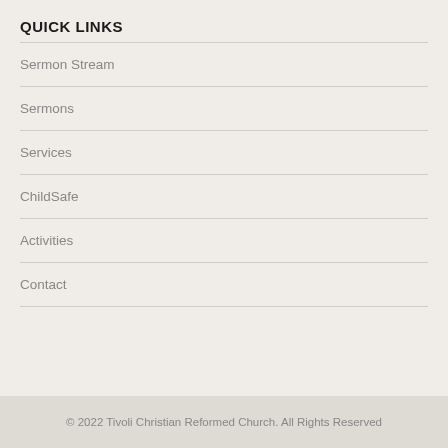QUICK LINKS
Sermon Stream
Sermons
Services
ChildSafe
Activities
Contact
© 2022 Tivoli Christian Reformed Church. All Rights Reserved